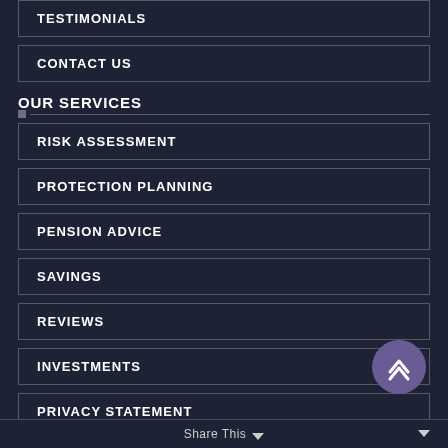TESTIMONIALS
CONTACT US
OUR SERVICES
RISK ASSESSMENT
PROTECTION PLANNING
PENSION ADVICE
SAVINGS
REVIEWS
INVESTMENTS
PRIVACY STATEMENT
Share This